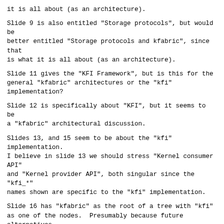it is all about (as an architecture).
Slide 9 is also entitled "Storage protocols", but would be
better entitled "Storage protocols and kfabric", since that
is what it is all about (as an architecture).
Slide 11 gives the "KFI Framework", but is this for the
general "kfabric" architectures or the "kfi"
implementation?
Slide 12 is specifically about "KFI", but it seems to be
a "kfabric" architectural discussion.
Slides 13, and 15 seem to be about the "kfi"
implementation.
I believe in slide 13 we should stress "Kernel consumer API"
and "Kernel provider API", both singular since the "kfi_*"
names shown are specific to the "kfi" implementation.
Slide 16 has "kfabric" as the root of a tree with "kfi"
as one of the nodes.  Presumably because future alternatives
to the "kfi" implementation will still be part of the
"kfabric" architecture.  It is not clear from this
diagram